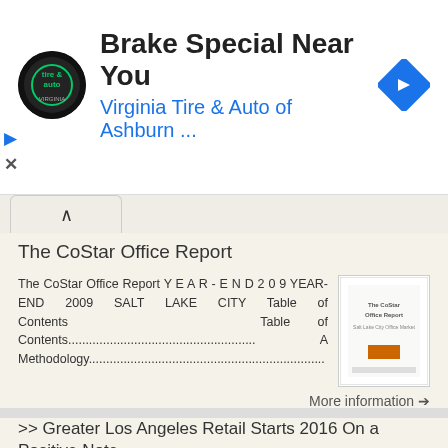[Figure (other): Advertisement banner for Virginia Tire & Auto of Ashburn with circular logo, navigation arrow icon, and play/close controls]
Brake Special Near You
Virginia Tire & Auto of Ashburn ...
The CoStar Office Report
The CoStar Office Report Y E A R - E N D 2 0 9 YEAR-END 2009 SALT LAKE CITY Table of Contents Table of Contents........................................................ A Methodology....................................................................
[Figure (other): Thumbnail image of The CoStar Office Report document cover]
More information →
>> Greater Los Angeles Retail Starts 2016 On a Positive Note
Research & Forecast Report GREATER LOS ANGELES RETAIL Accelerating success. >> Greater Los Angeles Retail Starts 2016 On a
[Figure (photo): Thumbnail photo showing retail/commercial scene]